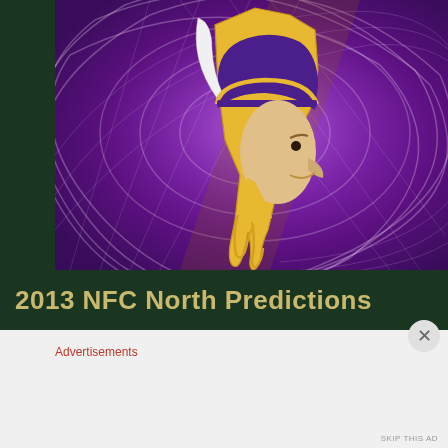[Figure (photo): Minnesota Vikings NFL team logo — a Viking warrior in gold and purple helmet — on a swirling purple abstract background]
2013 NFC North Predictions
Advertisements